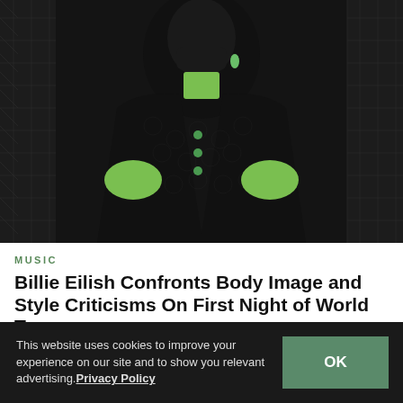[Figure (photo): Photo of Billie Eilish wearing a black Gucci patterned coat and lime green turtleneck with a black face mask, standing in front of a dark quilted background at what appears to be the Grammy Awards.]
MUSIC
Billie Eilish Confronts Body Image and Style Criticisms On First Night of World Tour
Watch the singer's video response, shown at her Miami concert.
This website uses cookies to improve your experience on our site and to show you relevant advertising. Privacy Policy  OK